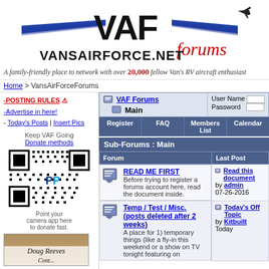[Figure (logo): VAF VansAirForce.net Forums logo with wings graphic and airplane silhouette]
A family-friendly place to network with over 20,000 fellow Van's RV aircraft enthusiast
Home > VansAirForceForums
-POSTING RULES ⚠ -Advertise in here! - Today's Posts | Insert Pics
Keep VAF Going
Donate methods
[Figure (other): QR code with PayPal logo for donation]
Point your camera app here to donate fast.
[Figure (photo): Photo of Doug Reeves]
| Forum | Last Post |
| --- | --- |
| READ ME FIRST — Before trying to register a forums account here, read the document inside. | Read this document by admin 07-26-2016 |
| Temp / Test / Misc. (posts deleted after 2 weeks) — A place for 1) temporary things (like a fly-in this weekend or a show on TV tonight featuring on | Today's Off Topic by Kitbuilt Today |